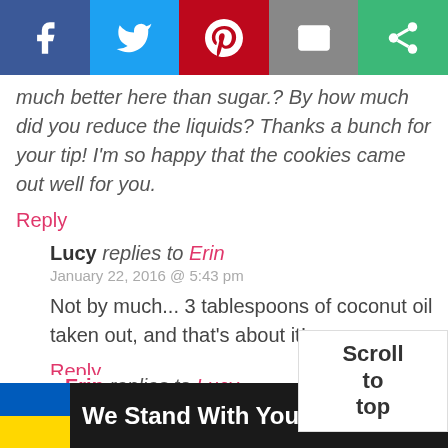[Figure (infographic): Social share bar with Facebook, Twitter, Pinterest, Email, and another share button]
much better here than sugar.? By how much did you reduce the liquids? Thanks a bunch for your tip! I'm so happy that the cookies came out well for you.
Reply
Lucy replies to Erin
January 22, 2016 @ 5:43 pm
Not by much... 3 tablespoons of coconut oil taken out, and that's about it!
Reply
Scroll to top
Erin replies to Lucy
[Figure (infographic): Advertisement banner: We Stand With You with Ukrainian flag colors]